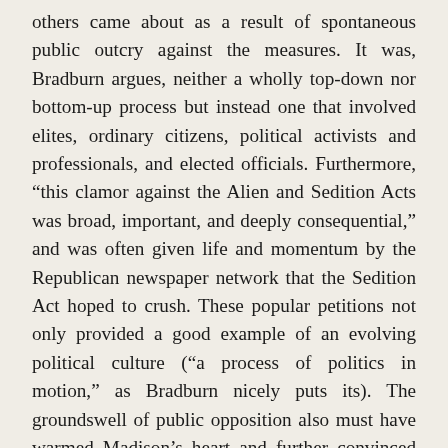others came about as a result of spontaneous public outcry against the measures. It was, Bradburn argues, neither a wholly top-down nor bottom-up process but instead one that involved elites, ordinary citizens, political activists and professionals, and elected officials. Furthermore, “this clamor against the Alien and Sedition Acts was broad, important, and deeply consequential,” and was often given life and momentum by the Republican newspaper network that the Sedition Act hoped to crush. These popular petitions not only provided a good example of an evolving political culture (“a process of politics in motion,” as Bradburn nicely puts its). The groundswell of public opposition also must have warmed Madison’s heart and further convinced he and Jefferson that the public really was on their side, and that with proper mobilization and organization, what